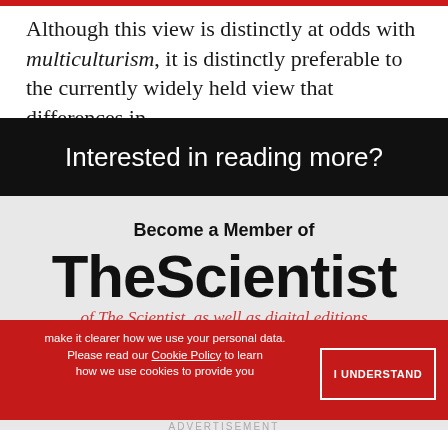Although this view is distinctly at odds with multiculturism, it is distinctly preferable to the currently widely held view that differences in
Interested in reading more?
[Figure (infographic): Membership promotion for The Scientist magazine with 'Become a Member of TheScientist' text on gray background]
make it clearer how we use your personal data. Please read our Cookie Policy to learn how we use cookies to provide you
I UNDERSTAND
ADVERTISEMENT